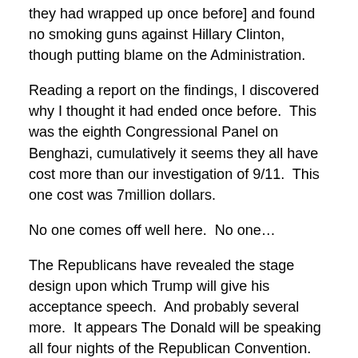they had wrapped up once before] and found no smoking guns against Hillary Clinton, though putting blame on the Administration.
Reading a report on the findings, I discovered why I thought it had ended once before.  This was the eighth Congressional Panel on Benghazi, cumulatively it seems they all have cost more than our investigation of 9/11.  This one cost was 7million dollars.
No one comes off well here.  No one…
The Republicans have revealed the stage design upon which Trump will give his acceptance speech.  And probably several more.  It appears The Donald will be speaking all four nights of the Republican Convention.  No one else has been racing to share the stage.